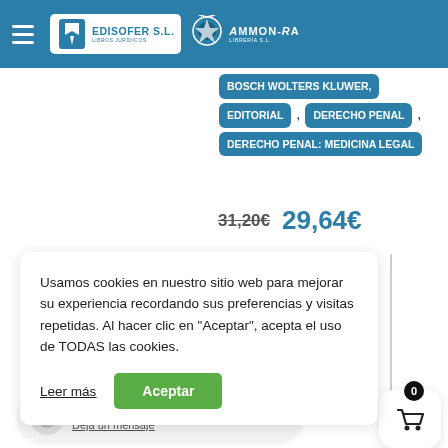EDISOFER S.L. LIBROS JURÍDICOS | AMMON-RA LIBRERÍA S.L.
BOSCH WOLTERS KLUWER, EDITORIAL , DERECHO PENAL , DERECHO PENAL: MEDICINA LEGAL
31,20€  29,64€
Usamos cookies en nuestro sitio web para mejorar su experiencia recordando sus preferencias y visitas repetidas. Al hacer clic en "Aceptar", acepta el uso de TODAS las cookies.
Leer más
Aceptar
Estamos desco...
Deja un mensaje